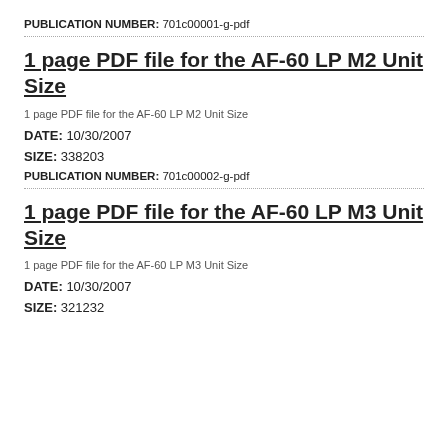PUBLICATION NUMBER: 701c00001-g-pdf
1 page PDF file for the AF-60 LP M2 Unit Size
1 page PDF file for the AF-60 LP M2 Unit Size
DATE: 10/30/2007
SIZE: 338203
PUBLICATION NUMBER: 701c00002-g-pdf
1 page PDF file for the AF-60 LP M3 Unit Size
1 page PDF file for the AF-60 LP M3 Unit Size
DATE: 10/30/2007
SIZE: 321232